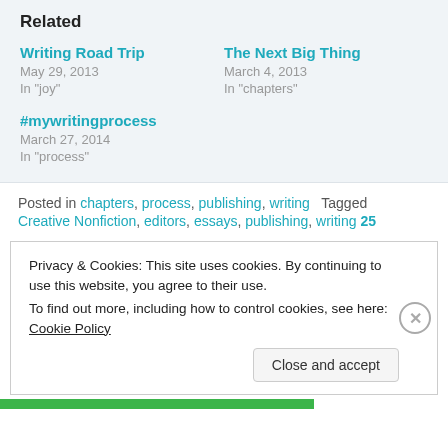Related
Writing Road Trip
May 29, 2013
In "joy"
The Next Big Thing
March 4, 2013
In "chapters"
#mywritingprocess
March 27, 2014
In "process"
Posted in chapters, process, publishing, writing   Tagged Creative Nonfiction, editors, essays, publishing, writing   25
Privacy & Cookies: This site uses cookies. By continuing to use this website, you agree to their use.
To find out more, including how to control cookies, see here:
Cookie Policy
Close and accept